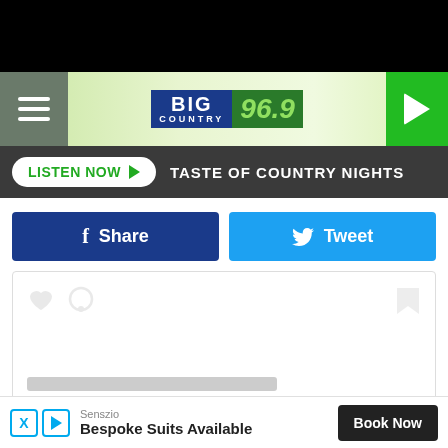[Figure (screenshot): Black top bar area at top of mobile browser]
Big Country 96.9 radio station header with hamburger menu, logo, and play button
LISTEN NOW ▶ TASTE OF COUNTRY NIGHTS
[Figure (infographic): Facebook Share button and Twitter Tweet button]
[Figure (screenshot): Instagram embed placeholder showing A post shared by K A C E Y (@spaceykacey)]
Musgra... d Luke Dick. It... t are
Senszio Bespoke Suits Available Book Now